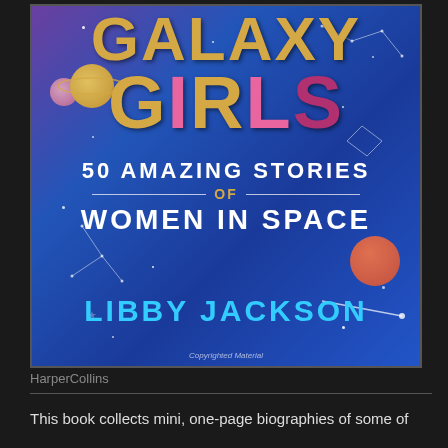[Figure (photo): Book cover of 'Galaxy Girls: 50 Amazing Stories of Women in Space' by Libby Jackson, published by HarperCollins. Dark blue/purple space background with colorful title text, planets, stars and constellation illustrations.]
HarperCollins
This book collects mini, one-page biographies of some of